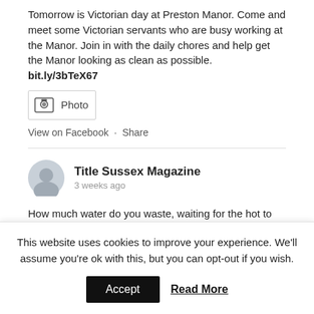Tomorrow is Victorian day at Preston Manor. Come and meet some Victorian servants who are busy working at the Manor. Join in with the daily chores and help get the Manor looking as clean as possible. bit.ly/3bTeX67
[Figure (other): Photo icon placeholder box with image icon and 'Photo' label]
View on Facebook · Share
Title Sussex Magazine
3 weeks ago
How much water do you waste, waiting for the hot to go hot? Or the cold to go cold? Either in the shower, or at the kitchen sink?

Lots of clever ways to be more water-responsible here
Hosepipe ban incoming! Creative ways to save
This website uses cookies to improve your experience. We'll assume you're ok with this, but you can opt-out if you wish.
Accept   Read More